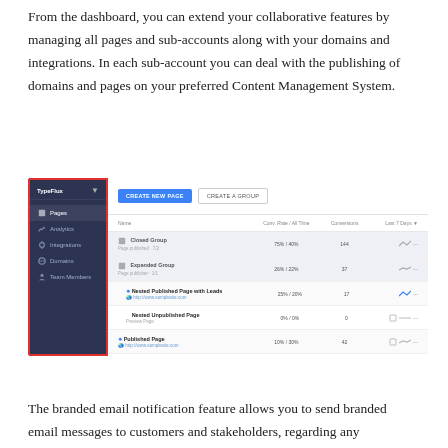From the dashboard, you can extend your collaborative features by managing all pages and sub-accounts along with your domains and integrations. In each sub-account you can deal with the publishing of domains and pages on your preferred Content Management System.
[Figure (screenshot): Dashboard screenshot showing a sidebar navigation with Pages, Analytics, Integrations, Domains, Team Members highlighted in a red border, and a main content area listing page groups: Closed Group, Expanded Group, Nested Published Page with Leads, Nested Unpublished Page, Published Page, Unpublished Changes Page with stats columns.]
The branded email notification feature allows you to send branded email messages to customers and stakeholders, regarding any